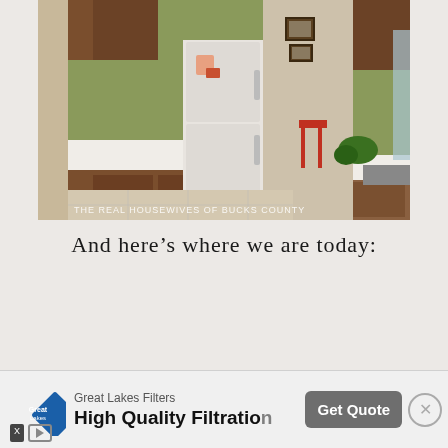[Figure (photo): Interior kitchen photo showing green walls, wood cabinets, white refrigerator with magnets, white countertops, tile floor, hallway in center, sink area on right, and window on far right. Watermark text reads: THE REAL HOUSEWIVES OF BUCKS COUNTY]
And here's where we are today:
[Figure (screenshot): Advertisement banner: Great Lakes Filters - High Quality Filtration - Get Quote button, with diamond-shaped logo, X and play icons bottom left, and close X button top right]